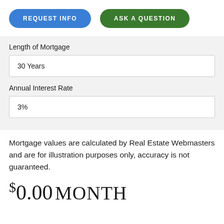REQUEST INFO
ASK A QUESTION
Length of Mortgage
30 Years
Annual Interest Rate
3%
Mortgage values are calculated by Real Estate Webmasters and are for illustration purposes only, accuracy is not guaranteed.
$0.00 MONTH